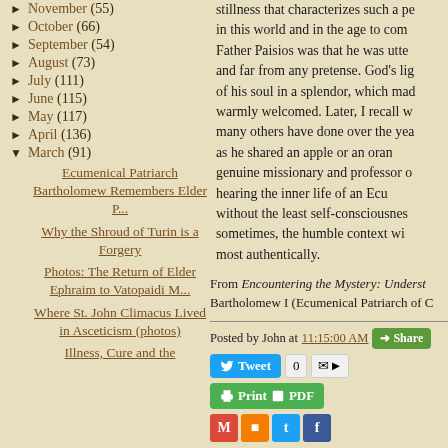▶ November (55)
▶ October (66)
▶ September (54)
▶ August (73)
▶ July (111)
▶ June (115)
▶ May (117)
▶ April (136)
▼ March (91)
Ecumenical Patriarch Bartholomew Remembers Elder P...
Why the Shroud of Turin is a Forgery
Photos: The Return of Elder Ephraim to Vatopaidi M...
Where St. John Climacus Lived in Asceticism (photos)
Illness, Cure and the
stillness that characterizes such a pe- in this world and in the age to come. Father Paisios was that he was utter- and far from any pretense. God's ligh- of his soul in a splendor, which mad- warmly welcomed. Later, I recall w- many others have done over the year- as he shared an apple or an orang- genuine missionary and professor o- hearing the inner life of an Ecum- without the least self-consciousness sometimes, the humble context wh- most authentically.
From Encountering the Mystery: Underst- Bartholomew I (Ecumenical Patriarch of C-
Posted by John at 11:15:00 AM
Labels: Patriarch Ba-